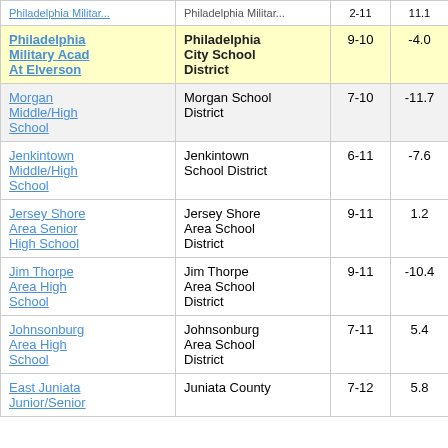| School | District | Grades | Score |  |
| --- | --- | --- | --- | --- |
| Philadelphia Military Acad At Elverson | Philadelphia City School District | 9-10 | -4.0 | 3 |
| Morgan Middle/High School | Morgan School District | 7-10 | -11.7 |  |
| Jenkintown Middle/High School | Jenkintown School District | 6-11 | -7.6 |  |
| Jersey Shore Area Senior High School | Jersey Shore Area School District | 9-11 | 1.2 |  |
| Jim Thorpe Area High School | Jim Thorpe Area School District | 9-11 | -10.4 |  |
| Johnsonburg Area High School | Johnsonburg Area School District | 7-11 | 5.4 |  |
| East Juniata Junior/Senior... | Juniata County | 7-12 | 5.8 |  |